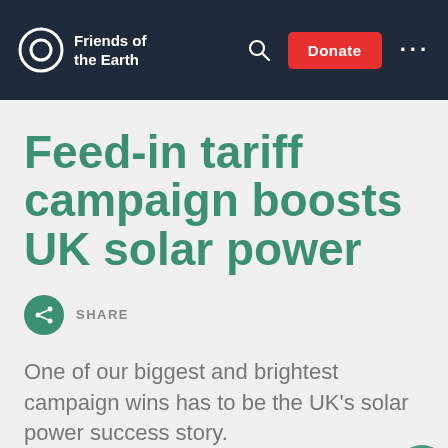Friends of the Earth | Search | Donate | Menu
Feed-in tariff campaign boosts UK solar power
SHARE
One of our biggest and brightest campaign wins has to be the UK's solar power success story.
26 Sep 2017 | 6 min